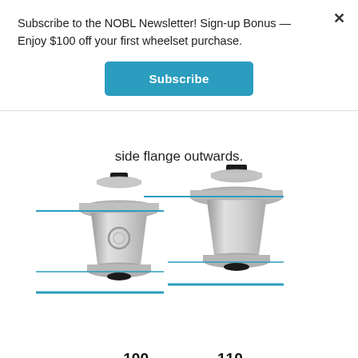Subscribe to the NOBL Newsletter! Sign-up Bonus — Enjoy $100 off your first wheelset purchase.
Subscribe
side flange outwards.
[Figure (illustration): Two bicycle hub components side by side with blue horizontal measurement lines. Left hub labeled 100, right hub labeled 110, showing different flange widths.]
100   110